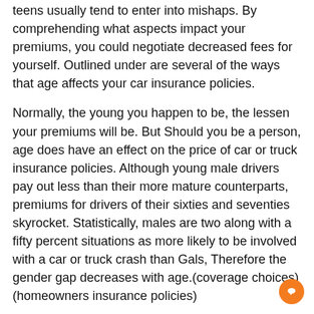teens usually tend to enter into mishaps. By comprehending what aspects impact your premiums, you could negotiate decreased fees for yourself. Outlined under are several of the ways that age affects your car insurance policies.
Normally, the young you happen to be, the lessen your premiums will be. But Should you be a person, age does have an effect on the price of car or truck insurance policies. Although young male drivers pay out less than their more mature counterparts, premiums for drivers of their sixties and seventies skyrocket. Statistically, males are two along with a fifty percent situations as more likely to be involved with a car or truck crash than Gals, Therefore the gender gap decreases with age.(coverage choices)(homeowners insurance policies)
Gender affects costs
The truth that a person will pay an increased high quality car or truck insurance coverage than a girl will not be entirely